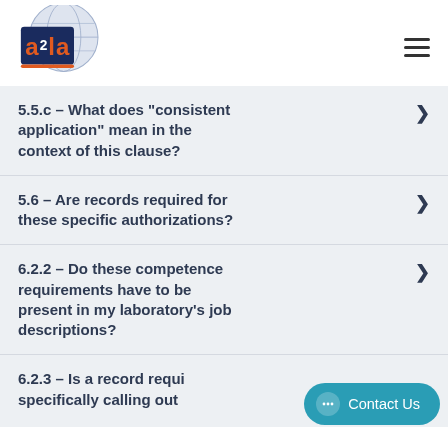A2LA logo and navigation
5.5.c – What does "consistent application" mean in the context of this clause?
5.6 – Are records required for these specific authorizations?
6.2.2 – Do these competence requirements have to be present in my laboratory's job descriptions?
6.2.3 – Is a record required specifically calling out